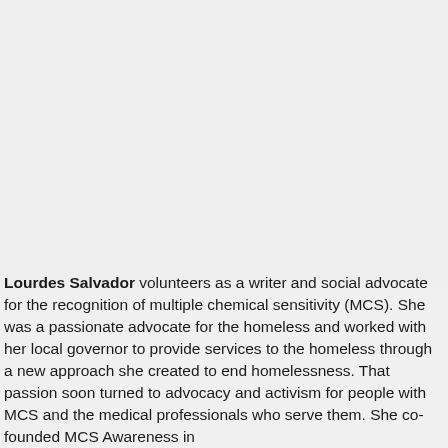[Figure (photo): Large image occupying the upper portion of the page (roughly top two-thirds), showing a light gray/white textured background — appears to be a photo placeholder or a faded image.]
Lourdes Salvador volunteers as a writer and social advocate for the recognition of multiple chemical sensitivity (MCS). She was a passionate advocate for the homeless and worked with her local governor to provide services to the homeless through a new approach she created to end homelessness. That passion soon turned to advocacy and activism for people with MCS and the medical professionals who serve them. She co-founded MCS Awareness in